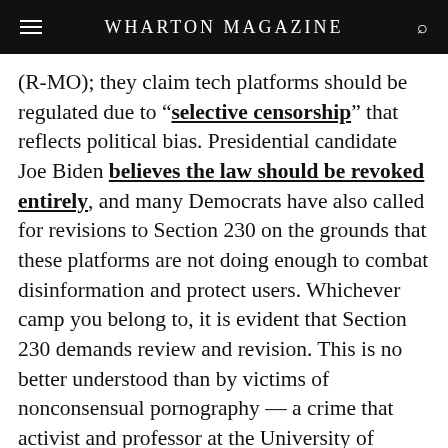WHARTON MAGAZINE
(R-MO); they claim tech platforms should be regulated due to “selective censorship” that reflects political bias. Presidential candidate Joe Biden believes the law should be revoked entirely, and many Democrats have also called for revisions to Section 230 on the grounds that these platforms are not doing enough to combat disinformation and protect users. Whichever camp you belong to, it is evident that Section 230 demands review and revision. This is no better understood than by victims of nonconsensual pornography — a crime that activist and professor at the University of Miami School of Law Mary Anne Franks defines as “sexually explicit images and video disclosed without consent and for no legitimate purpose.”